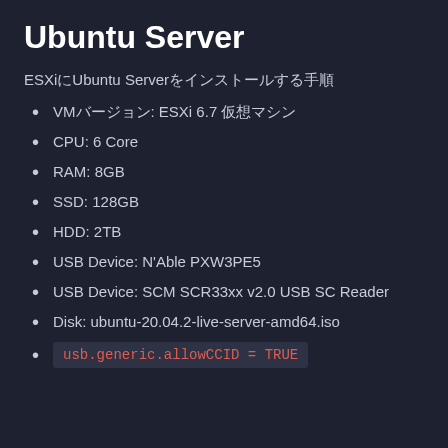Ubuntu Server
ESXiにUbuntu Serverをインストールする手順
VMバージョン: ESXi 6.7 仮想マシン
CPU: 6 Core
RAM: 8GB
SSD: 128GB
HDD: 2TB
USB Device: N'Able PXW3PE5
USB Device: SCM SCR33xx v2.0 USB SC Reader
Disk: ubuntu-20.04.2-live-server-amd64.iso
usb.generic.allowCCID = TRUE